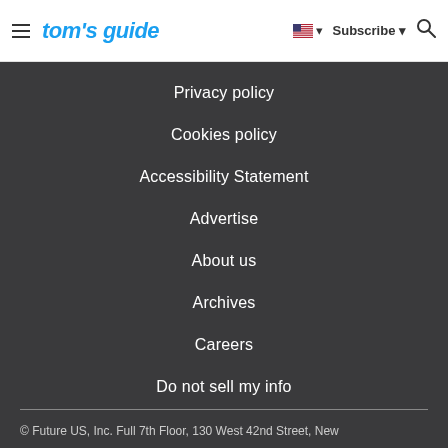tom's guide — Subscribe
Privacy policy
Cookies policy
Accessibility Statement
Advertise
About us
Archives
Careers
Do not sell my info
© Future US, Inc. Full 7th Floor, 130 West 42nd Street, New